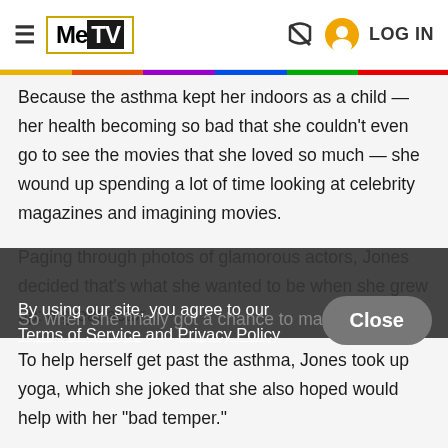MeTV — LOG IN
Because the asthma kept her indoors as a child — her health becoming so bad that she couldn't even go to see the movies that she loved so much — she wound up spending a lot of time looking at celebrity magazines and imagining movies.
Paging through photos of glamorous actors, Jones decided that's what she wanted to be when she grew up: a great actor.
So when she finally got a chance to make a go at becoming a star, Jones had studied the magazines and she was ready to stand out.
By using our site, you agree to our Terms of Service and Privacy Policy
Close
To help herself get past the asthma, Jones took up yoga, which she joked that she also hoped would help with her "bad temper."